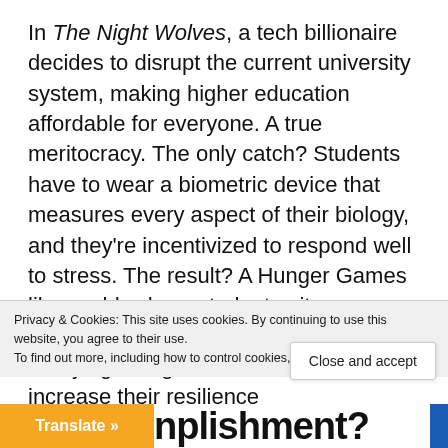In The Night Wolves, a tech billionaire decides to disrupt the current university system, making higher education affordable for everyone. A true meritocracy. The only catch? Students have to wear a biometric device that measures every aspect of their biology, and they're incentivized to respond well to stress. The result? A Hunger Games like world, where students pit themselves and each other through terrifying, dangerous activities, to increase their resilience
Privacy & Cookies: This site uses cookies. By continuing to use this website, you agree to their use.
To find out more, including how to control cookies, see here: Cookie Policy
Close and accept
Translate »
npishment?